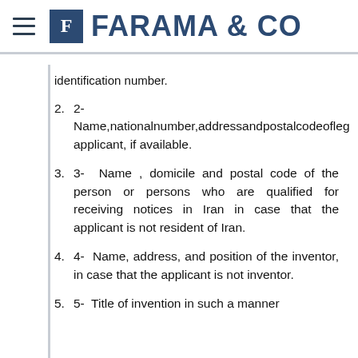FARAMA & CO
identification number.
2- Name,nationalnumber,addressandpostalcodeoleg applicant, if available.
3- Name , domicile and postal code of the person or persons who are qualified for receiving notices in Iran in case that the applicant is not resident of Iran.
4- Name, address, and position of the inventor, in case that the applicant is not inventor.
5- Title of invention in such a manner